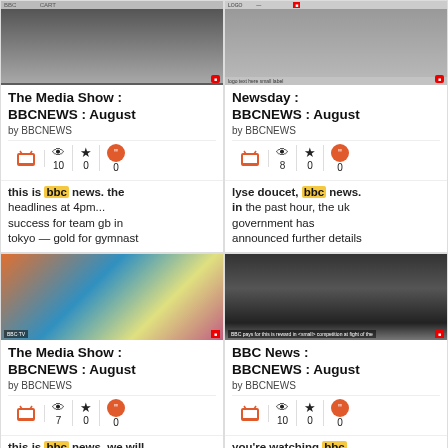[Figure (screenshot): TV show thumbnail - dark image, The Media Show BBCNEWS August]
The Media Show : BBCNEWS : August
by BBCNEWS
TV icon | eye 10 | star 0 | quote 0
this is bbc news. the headlines at 4pm... success for team gb in tokyo — gold for gymnast
[Figure (screenshot): TV show thumbnail - grayscale, Newsday BBCNEWS August]
Newsday : BBCNEWS : August
by BBCNEWS
TV icon | eye 8 | star 0 | quote 0
lyse doucet, bbc news. in the past hour, the uk government has announced further details
[Figure (screenshot): TV show thumbnail - colorful Tokyo street scene, The Media Show BBCNEWS August]
The Media Show : BBCNEWS : August
by BBCNEWS
TV icon | eye 7 | star 0 | quote 0
this is bbc news. we will
[Figure (screenshot): TV show thumbnail - dark crowd/stadium scene, BBC News BBCNEWS August]
BBC News : BBCNEWS : August
by BBCNEWS
TV icon | eye 10 | star 0 | quote 0
you're watching bbc news. and we'll be taking